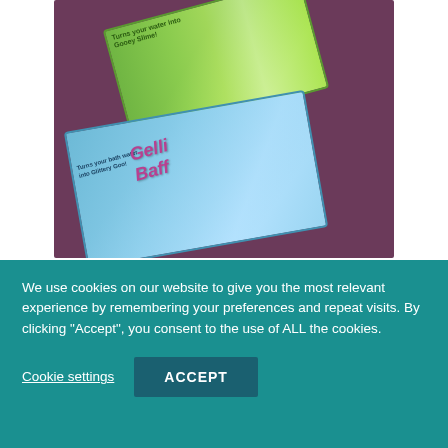[Figure (photo): Photo of two children's bath product boxes (Glitter Slime and Gelli Baff) laid on a purple/dark background. The top box is green with rainbow and slime imagery. The bottom box is light blue/teal with a baby in a bathtub and 'Gelli Baff' branding.]
We use cookies on our website to give you the most relevant experience by remembering your preferences and repeat visits. By clicking "Accept", you consent to the use of ALL the cookies.
Cookie settings
ACCEPT